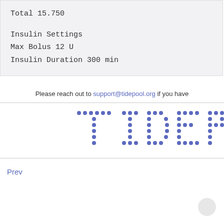Total 15.750

Insulin Settings
Max Bolus 12 U
Insulin Duration 300 min
Please reach out to support@tidepool.org if you have
[Figure (logo): Tidepool logo in dotted blue letters showing TIDEP (partial, cropped)]
Prev